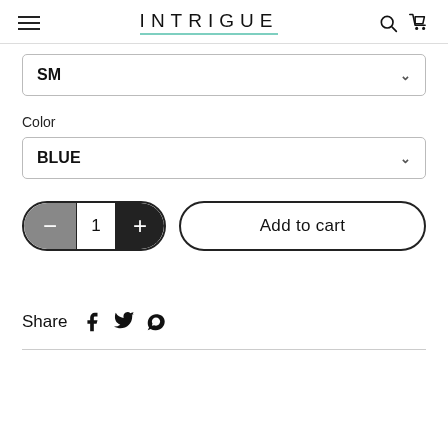INTRIGUE
SM
Color
BLUE
1
Add to cart
Share